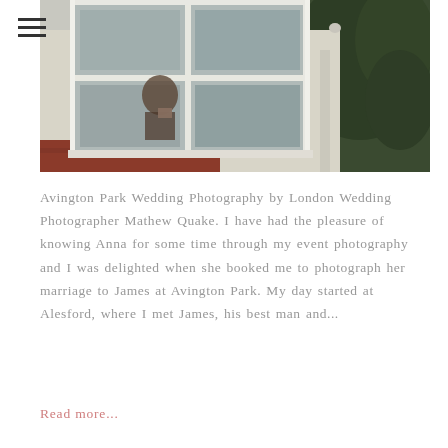[Figure (photo): A person looking out from a white-framed bay window of a house, with trees visible in the background. The exterior wall is light textured stucco with brick trim below.]
Avington Park Wedding Photography by London Wedding Photographer Mathew Quake. I have had the pleasure of knowing Anna for some time through my event photography and I was delighted when she booked me to photograph her marriage to James at Avington Park. My day started at Alesford, where I met James, his best man and...
Read more...